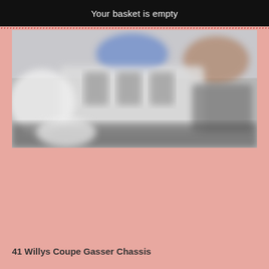Your basket is empty
[Figure (photo): Blurred close-up photo of a car engine or chassis components, showing mechanical parts in grayscale with some blue and brown tones in the background.]
41 Willys Coupe Gasser Chassis